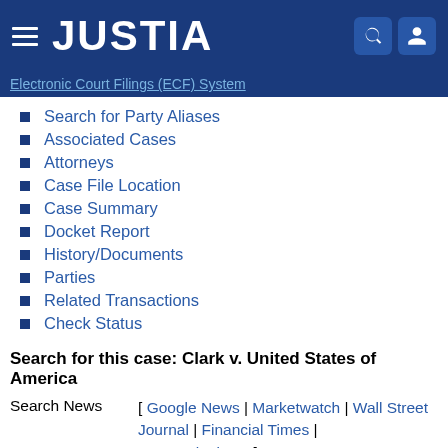JUSTIA
Electronic Court Filings (ECF) System
Search for Party Aliases
Associated Cases
Attorneys
Case File Location
Case Summary
Docket Report
History/Documents
Parties
Related Transactions
Check Status
Search for this case: Clark v. United States of America
Search News [ Google News | Marketwatch | Wall Street Journal | Financial Times | New York Times ]